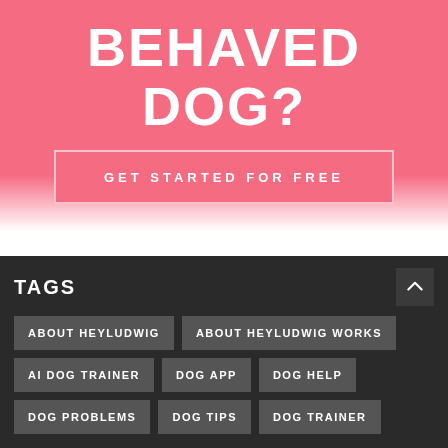BEHAVED DOG?
GET STARTED FOR FREE
TAGS
ABOUT HEYLUDWIG
ABOUT HEYLUDWIG WORKS
AI DOG TRAINER
DOG APP
DOG HELP
DOG PROBLEMS
DOG TIPS
DOG TRAINER